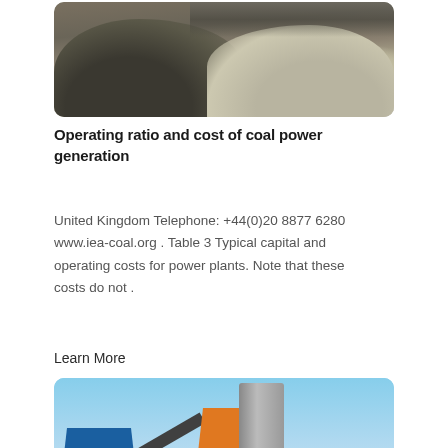[Figure (photo): Aerial or close-up view of aggregate/gravel and sand piles at a construction or quarry site, with heavy machinery visible in the background.]
Operating ratio and cost of coal power generation
United Kingdom Telephone: +44(0)20 8877 6280 www.iea-coal.org . Table 3 Typical capital and operating costs for power plants. Note that these costs do not .
Learn More
[Figure (photo): Industrial concrete batching plant with blue hopper and frame, orange conveyor belt and mixing tower, cylindrical silo in background, and orange concrete mixer drum in the foreground, under a clear blue sky.]